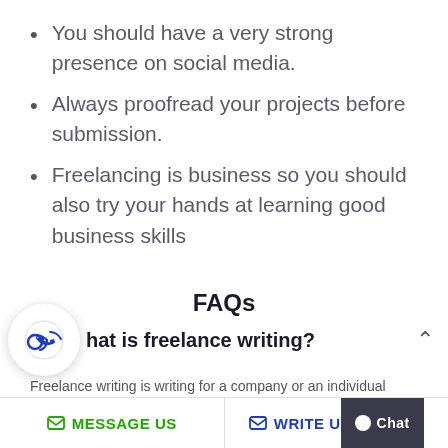You should have a very strong presence on social media.
Always proofread your projects before submission.
Freelancing is business so you should also try your hands at learning good business skills
FAQs
What is freelance writing?
Freelance writing is writing for a company or an individual…
MESSAGE US   WRITE US   Chat